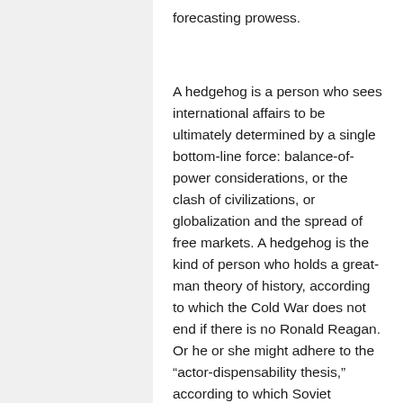forecasting prowess.
A hedgehog is a person who sees international affairs to be ultimately determined by a single bottom-line force: balance-of-power considerations, or the clash of civilizations, or globalization and the spread of free markets. A hedgehog is the kind of person who holds a great-man theory of history, according to which the Cold War does not end if there is no Ronald Reagan. Or he or she might adhere to the “actor-dispensability thesis,” according to which Soviet